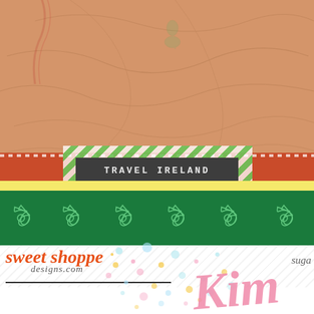[Figure (illustration): Scrapbook page top half: sandy/tan map background with subtle topographic lines, a green four-leaf clover sticker top-center, a red curling ribbon top-right, overlaid with a green diagonal-striped washi tape and a red ribbon strip with white stitching, and a dark gray rectangular label reading TRAVEL IRELAND in monospaced capital letters. Below is a yellow band and a dark green Celtic knot patterned band.]
sweet shoppe designs.com
suga
[Figure (illustration): Colorful watercolor paint splatter dots in pink, teal, blue, yellow scattered across the lower right area of the page, with a large cursive pink script reading 'Kim' overlaid on the right side.]